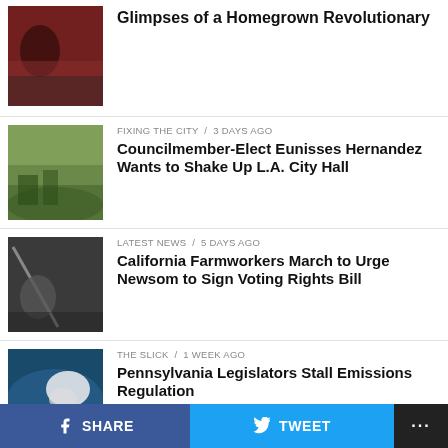Glimpses of a Homegrown Revolutionary
FIXING THE CITY / 3 days ago
Councilmember-Elect Eunisses Hernandez Wants to Shake Up L.A. City Hall
LATEST NEWS / 5 days ago
California Farmworkers March to Urge Newsom to Sign Voting Rights Bill
THE SLICK / 1 week ago
Pennsylvania Legislators Stall Emissions Regulation
THE SLICK / 1 week ago
Infrared Video Shows Widespread Oil and Gas Leaks in Los Angeles